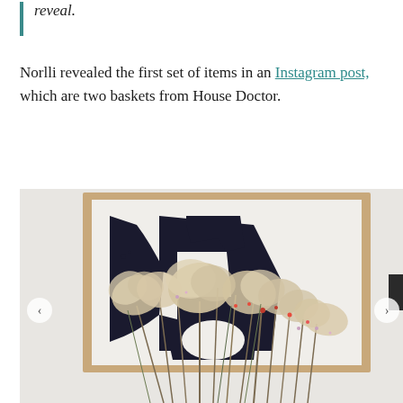reveal.
Norlli revealed the first set of items in an Instagram post, which are two baskets from House Doctor.
[Figure (photo): Instagram photo showing a room with a large abstract black and white framed art print on the wall, and a large bouquet of dried pampas grass and wildflowers in the foreground. Navigation arrows are visible on the left and right sides of the photo.]